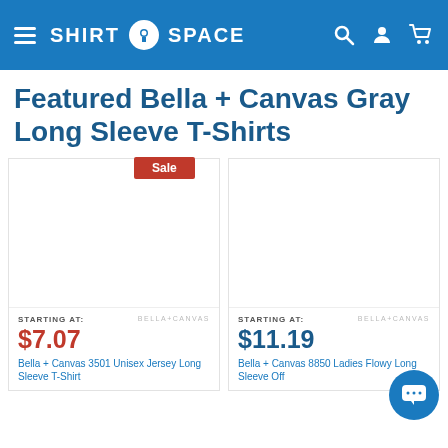Shirt Space
Featured Bella + Canvas Gray Long Sleeve T-Shirts
[Figure (screenshot): Product listing page from ShirtSpace.com showing two Bella+Canvas gray long sleeve t-shirt products. Left product has a 'Sale' badge. Left product: STARTING AT: $7.07, Bella + Canvas 3501 Unisex Jersey Long Sleeve T-Shirt. Right product: STARTING AT: $11.19, Bella + Canvas 8850 Ladies Flowy Long Sleeve Off... Both cards show blank white image areas and Bella+Canvas brand labels.]